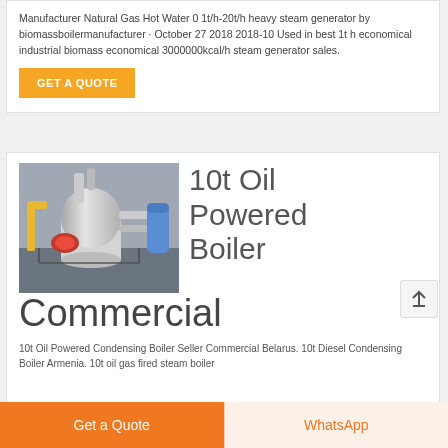Manufacturer Natural Gas Hot Water 0 1t/h-20t/h heavy steam generator by biomassboilermanufacturer · October 27 2018 2018-10 Used in best 1t h economical industrial biomass economical 3000000kcal/h steam generator sales.
GET A QUOTE
[Figure (photo): Photo of an industrial oil powered boiler with pipes and industrial equipment in a factory setting]
10t Oil Powered Boiler Commercial
10t Oil Powered Condensing Boiler Seller Commercial Belarus. 10t Diesel Condensing Boiler Armenia. 10t oil gas fired steam boiler
Get a Quote
WhatsApp